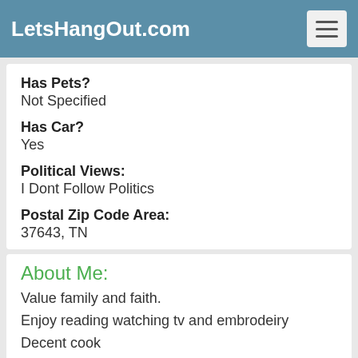LetsHangOut.com
Has Pets?
Not Specified
Has Car?
Yes
Political Views:
I Dont Follow Politics
Postal Zip Code Area:
37643, TN
About Me:
Value family and faith.
Enjoy reading watching tv and embrodeiry
Decent cook
Enjoy country nights and country music
Enjoy cuddle time with someone special